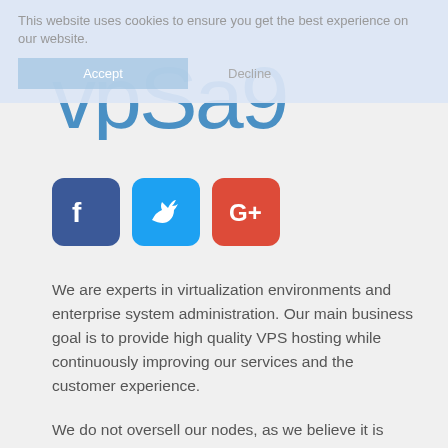This website uses cookies to ensure you get the best experience on our website.
[Figure (logo): VPSag9 logo in blue text]
[Figure (infographic): Social media icons: Facebook (blue), Twitter (light blue), Google+ (red)]
We are experts in virtualization environments and enterprise system administration. Our main business goal is to provide high quality VPS hosting while continuously improving our services and the customer experience.
We do not oversell our nodes, as we believe it is better to provide a higher quality VPS service at affordable rates instead of providing an unreliable and unstable service at low rates that are unsustainable for us. Our nodes are monitored 24/7 and our NOC team reacts instantly to performance degradations or technical problems.